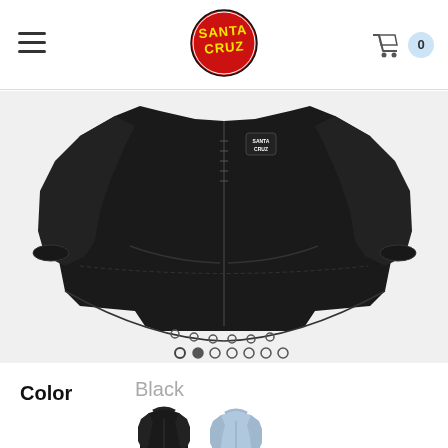Santa Cruz skate brand website header with hamburger menu, Santa Cruz logo, and cart icon showing 0 items
[Figure (photo): Black Santa Cruz windbreaker jacket displayed flat on white background, with small Santa Cruz logo patch on chest, zipper front, elastic cuffs, and front pockets. Carousel dots visible below.]
Color   Black
[Figure (photo): Two color swatch thumbnails: black jacket (selected, with underline) and light blue/grey jacket]